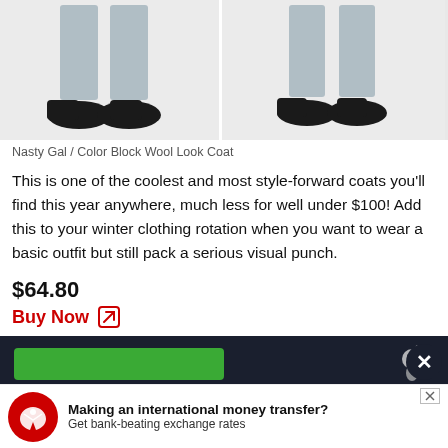[Figure (photo): Two product photos side by side showing the lower half of a model wearing jeans and black shoes, displaying a Color Block Wool Look Coat from Nasty Gal]
Nasty Gal / Color Block Wool Look Coat
This is one of the coolest and most style-forward coats you'll find this year anywhere, much less for well under $100! Add this to your winter clothing rotation when you want to wear a basic outfit but still pack a serious visual punch.
$64.80
Buy Now
[Figure (screenshot): Dark navy banner with squirrel logo icon on the right side]
[Figure (photo): Retailer logo image placeholder with broken image icon]
Check price here
[Figure (screenshot): Advertisement banner: Making an international money transfer? Get bank-beating exchange rates, with red circular eagle logo and close buttons]